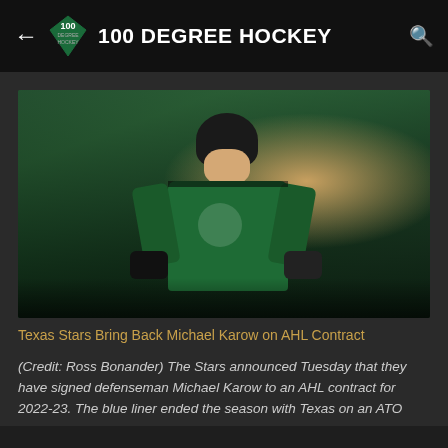100 DEGREE HOCKEY
[Figure (photo): Hockey player wearing green Dallas Stars jersey and black helmet, looking upward, on ice rink with crowd in background]
Texas Stars Bring Back Michael Karow on AHL Contract
(Credit: Ross Bonander) The Stars announced Tuesday that they have signed defenseman Michael Karow to an AHL contract for 2022-23. The blue liner ended the season with Texas on an ATO after completing his collegiate career at Michigan Tech. Karow w ...